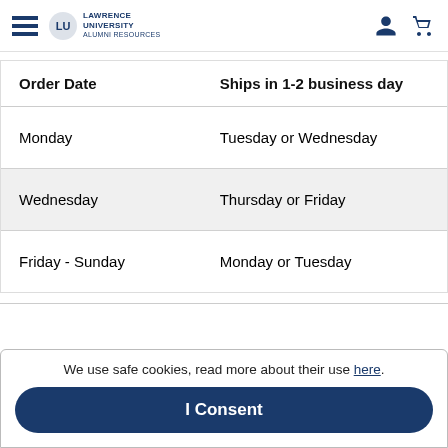Lawrence University — navigation header with hamburger menu, logo, person icon, cart icon
| Order Date | Ships in 1-2 business day |
| --- | --- |
| Monday | Tuesday or Wednesday |
| Wednesday | Thursday or Friday |
| Friday - Sunday | Monday or Tuesday |
We use safe cookies, read more about their use here.
I Consent